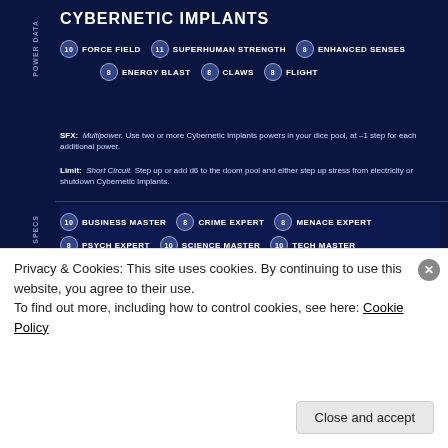CYBERNETIC IMPLANTS
10 FORCE FIELD | 11 SUPERHUMAN STRENGTH | 8 ENHANCED SENSES | 8 ENERGY BLAST | 8 CLAWS | 8 FLIGHT
SFX: Multipower. Use two or more Cybernetic Implants powers in your dice pool, at -1 step for each additional power.
Limit: Short Circuit. Step up or add d6 to the doom pool and either step up stress from electricity or shutdown Cybernetic Implants.
10 BUSINESS MASTER | 8 CRIME EXPERT | 8 MENACE EXPERT | 8 PSYCH EXPERT | 10 SCIENCE MASTER | 10 TECH MASTER
After Victor von Doom was deposed as the leader of Latveria, Lucia von Bardas got elected as the Prime Minister of Latveria, with the help from US Government. However Lucia was secretly funding tech-base criminals and villains through the Tinkerer. Nick Fury eventually found out,and with the help of other heroes, he orchestrated a black ops non-S.H.I.E.L.D. mission to kill Lucia. She survived the attempt just to be transformed into a cyborg, using the same tech she was sponsoring.
Now she is out for revenge.
Character writeup by: Felipe Meoaenthas
Datafile created by Mark Moratin (maralptojoints.wordpress.com)
Privacy & Cookies: This site uses cookies. By continuing to use this website, you agree to their use.
To find out more, including how to control cookies, see here: Cookie Policy
Close and accept